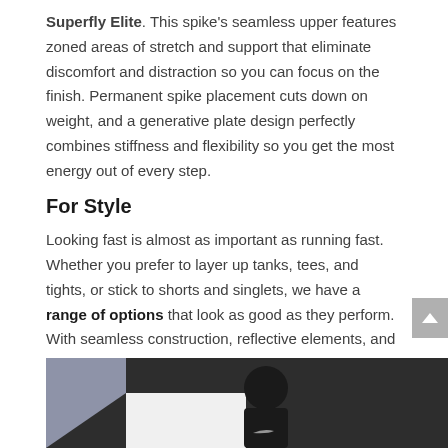Superfly Elite. This spike's seamless upper features zoned areas of stretch and support that eliminate discomfort and distraction so you can focus on the finish. Permanent spike placement cuts down on weight, and a generative plate design perfectly combines stiffness and flexibility so you get the most energy out of every step.
For Style
Looking fast is almost as important as running fast. Whether you prefer to layer up tanks, tees, and tights, or stick to shorts and singlets, we have a range of options that look as good as they perform. With seamless construction, reflective elements, and sweat-wicking material, these are comfortable, breathable pieces that you can mix and match to suit any workout.
[Figure (photo): Partial photo of a person wearing a black Nike top with the Nike swoosh visible, against a mixed background of grey and white]